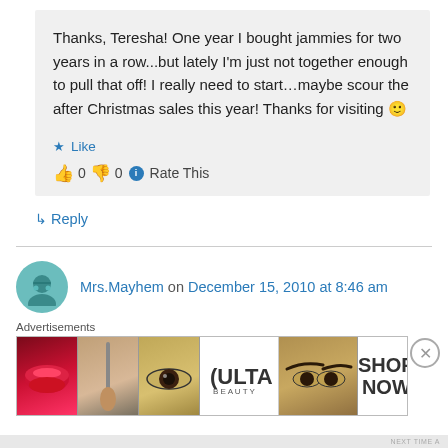Thanks, Teresha! One year I bought jammies for two years in a row...but lately I'm just not together enough to pull that off! I really need to start…maybe scour the after Christmas sales this year! Thanks for visiting 🙂
★ Like
👍 0 👎 0 ℹ Rate This
↳ Reply
Mrs.Mayhem on December 15, 2010 at 8:46 am
[Figure (other): Advertisements banner showing ULTA beauty ad with lips, makeup brush, eye, ULTA logo, eyebrows, and SHOP NOW text panels]